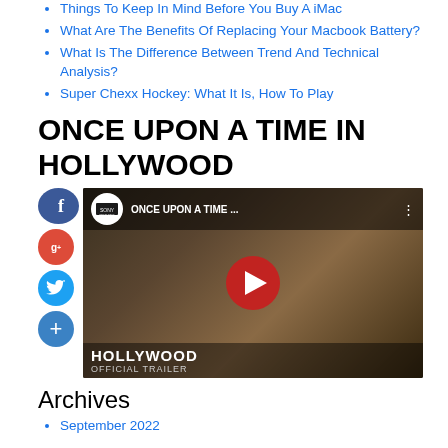What Are The Benefits Of Replacing Your Macbook Battery?
What Is The Difference Between Trend And Technical Analysis?
Super Chexx Hockey: What It Is, How To Play
ONCE UPON A TIME IN HOLLYWOOD
[Figure (screenshot): YouTube video thumbnail for 'ONCE UPON A TIME IN HOLLYWOOD' official trailer, showing two men in 1960s attire, Sony Pictures logo, red play button, and text 'HOLLYWOOD OFFICIAL TRAILER'. Social media icons (Facebook, Google+, Twitter, plus) overlaid on left side.]
Archives
September 2022